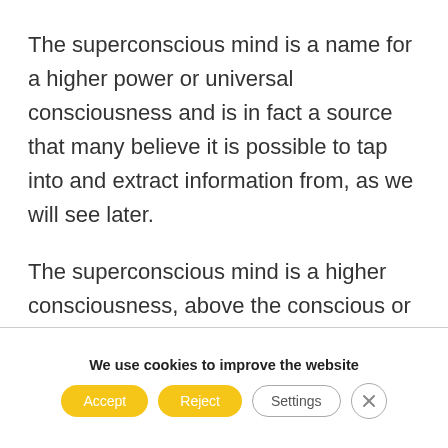The superconscious mind is a name for a higher power or universal consciousness and is in fact a source that many believe it is possible to tap into and extract information from, as we will see later.
The superconscious mind is a higher consciousness, above the conscious or subconscious mind of an individual or a
We use cookies to improve the website
Accept  Reject  Settings  ✕